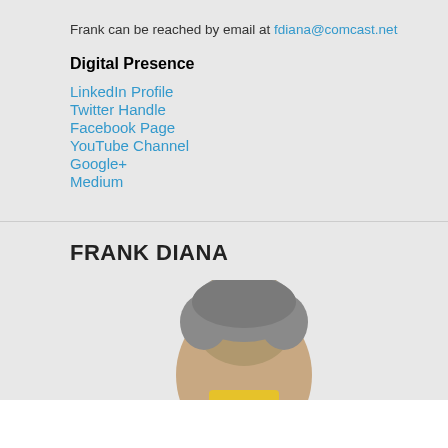Frank can be reached by email at fdiana@comcast.net
Digital Presence
LinkedIn Profile
Twitter Handle
Facebook Page
YouTube Channel
Google+
Medium
FRANK DIANA
[Figure (photo): Partial photo of Frank Diana, showing top of head with gray hair, cropped at bottom of page.]